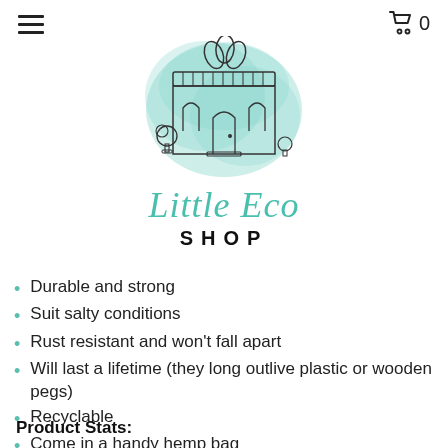≡   🛒 0
[Figure (logo): Little Eco Shop logo: a teal watercolor splash behind a hand-drawn shop building with awnings, arched doors, plants and leaves. Below: 'Little Eco' in teal serif italic, 'SHOP' in bold black caps.]
Durable and strong
Suit salty conditions
Rust resistant and won't fall apart
Will last a lifetime (they long outlive plastic or wooden pegs)
Recyclable
Come in a handy hemp bag
Available in bags of 24 and 50
Product Stats: